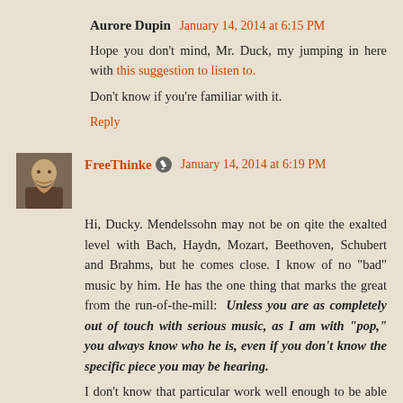Aurore Dupin  January 14, 2014 at 6:15 PM
Hope you don't mind, Mr. Duck, my jumping in here with this suggestion to listen to.

Don't know if you're familiar with it.
Reply
FreeThinke  January 14, 2014 at 6:19 PM
Hi, Ducky. Mendelssohn may not be on qite the exalted level with Bach, Haydn, Mozart, Beethoven, Schubert and Brahms, but he comes close. I know of no "bad" music by him. He has the one thing that marks the great from the run-of-the-mill:  Unless you are as completely out of touch with serious music, as I am with "pop," you always know who he is, even if you don't know the specific piece you may be hearing.

I don't know that particular work well enough to be able to hear it in my head when you mention it, but Mendelssohn's